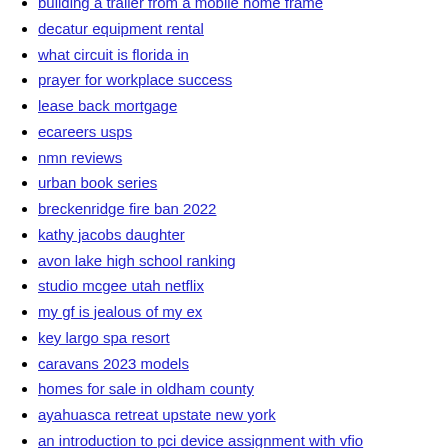building a trailer from a mobile home frame
decatur equipment rental
what circuit is florida in
prayer for workplace success
lease back mortgage
ecareers usps
nmn reviews
urban book series
breckenridge fire ban 2022
kathy jacobs daughter
avon lake high school ranking
studio mcgee utah netflix
my gf is jealous of my ex
key largo spa resort
caravans 2023 models
homes for sale in oldham county
ayahuasca retreat upstate new york
an introduction to pci device assignment with vfio
1999 chevy silverado interior fuse box diagram
white uk grime artists
average pastor salary by church size
how old is jane rizzoli
rooms for rent in fresno craigslist
best lighted g nock
how do i get original gm window sticker
archdiocese of newark powerschool